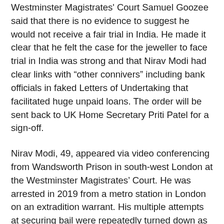Westminster Magistrates' Court Samuel Goozee said that there is no evidence to suggest he would not receive a fair trial in India. He made it clear that he felt the case for the jeweller to face trial in India was strong and that Nirav Modi had clear links with “other connivers” including bank officials in faked Letters of Undertaking that facilitated huge unpaid loans. The order will be sent back to UK Home Secretary Priti Patel for a sign-off.
Nirav Modi, 49, appeared via video conferencing from Wandsworth Prison in south-west London at the Westminster Magistrates’ Court. He was arrested in 2019 from a metro station in London on an extradition warrant. His multiple attempts at securing bail were repeatedly turned down as he was deemed a flight risk.